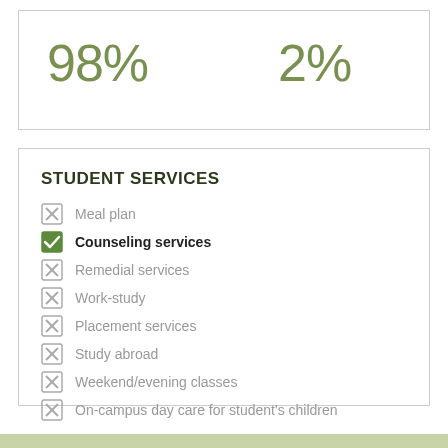98%  2%
STUDENT SERVICES
Meal plan
Counseling services
Remedial services
Work-study
Placement services
Study abroad
Weekend/evening classes
On-campus day care for student's children